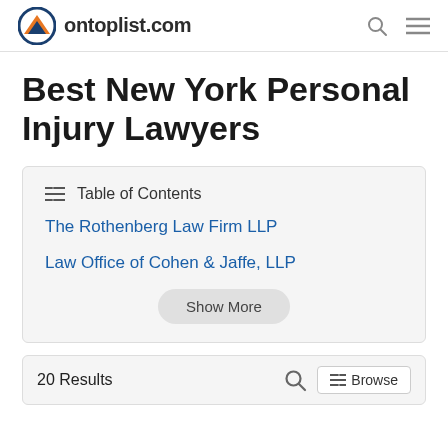ontoplist.com
Best New York Personal Injury Lawyers
Table of Contents
The Rothenberg Law Firm LLP
Law Office of Cohen & Jaffe, LLP
Show More
20 Results
Browse